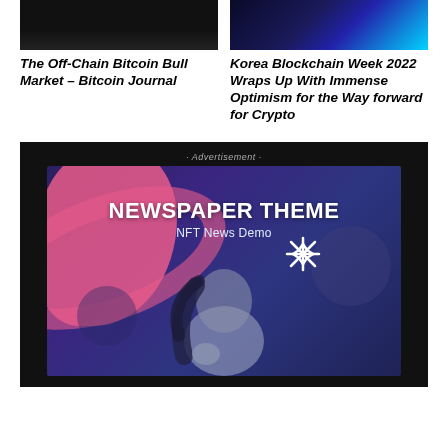[Figure (photo): Dark/black image thumbnail for Bitcoin article on the left]
[Figure (photo): Blue glowing image thumbnail for Korea Blockchain Week article on the right]
The Off-Chain Bitcoin Bull Market – Bitcoin Journal
Korea Blockchain Week 2022 Wraps Up With Immense Optimism for the Way forward for Crypto
[Figure (illustration): Advertisement banner: black background with NFT News Demo newspaper theme ad. Shows a stylized NFT illustration with pink/purple tones, a figure with dark hair, decorative star/snowflake element, and text 'NEWSPAPER THEME NFT News Demo'. Labeled '· Advertisement ·' at top.]